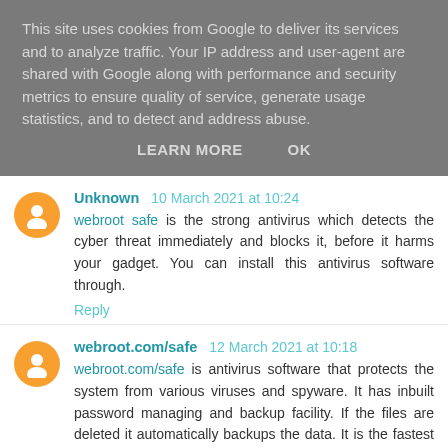This site uses cookies from Google to deliver its services and to analyze traffic. Your IP address and user-agent are shared with Google along with performance and security metrics to ensure quality of service, generate usage statistics, and to detect and address abuse.
LEARN MORE   OK
Unknown  10 March 2021 at 10:24
webroot safe is the strong antivirus which detects the cyber threat immediately and blocks it, before it harms your gadget. You can install this antivirus software through.
Reply
webroot.com/safe  12 March 2021 at 10:18
webroot.com/safe is antivirus software that protects the system from various viruses and spyware. It has inbuilt password managing and backup facility. If the files are deleted it automatically backups the data. It is the fastest antivirus scanner than the other one.